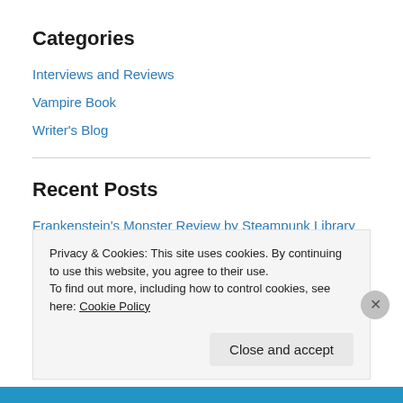Categories
Interviews and Reviews
Vampire Book
Writer's Blog
Recent Posts
Frankenstein's Monster Review by Steampunk Library
Frankenstein's Monster – A Review
#MyWritingProcess Author Blog-Hop
Second Person Point of View in Today's Media
Privacy & Cookies: This site uses cookies. By continuing to use this website, you agree to their use.
To find out more, including how to control cookies, see here: Cookie Policy
Close and accept